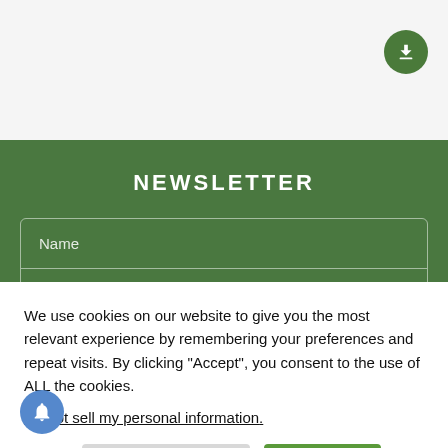[Figure (other): Green circular download/scroll button in top right corner]
NEWSLETTER
Name
Your best email
We use cookies on our website to give you the most relevant experience by remembering your preferences and repeat visits. By clicking "Accept", you consent to the use of ALL the cookies.
Do not sell my personal information.
Cookie Settings
Accept